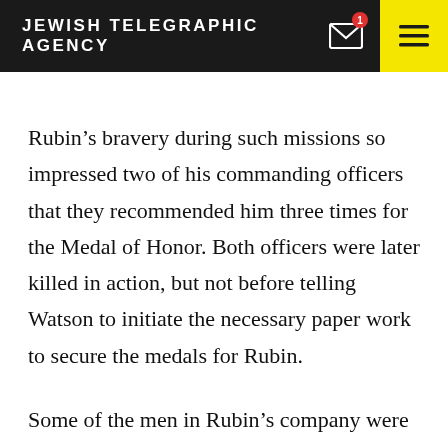JEWISH TELEGRAPHIC AGENCY
Rubin’s bravery during such missions so impressed two of his commanding officers that they recommended him three times for the Medal of Honor. Both officers were later killed in action, but not before telling Watson to initiate the necessary paper work to secure the medals for Rubin.
Some of the men in Rubin’s company were present when Watson was ordered to put in for the medals, and all are convinced that he deliberately ignored the